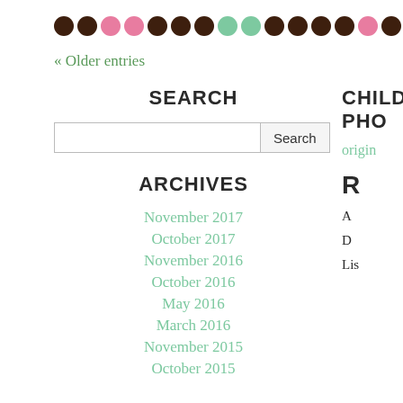[Figure (illustration): A horizontal row of decorative dots in brown, pink, and green colors forming a decorative divider]
« Older entries
SEARCH
Search input field and Search button
ARCHIVES
November 2017
October 2017
November 2016
October 2016
May 2016
March 2016
November 2015
October 2015
CHILD PHO
origin
R
A
D
Lis